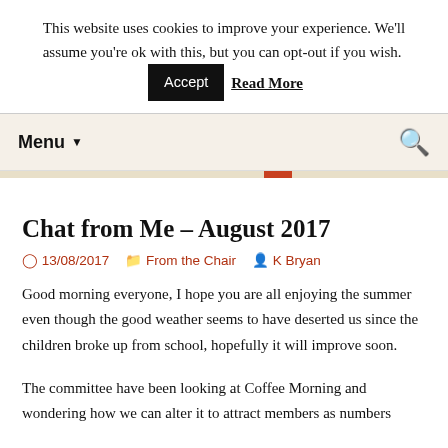This website uses cookies to improve your experience. We'll assume you're ok with this, but you can opt-out if you wish. Accept Read More
Menu ▼
Chat from Me – August 2017
13/08/2017   From the Chair   K Bryan
Good morning everyone, I hope you are all enjoying the summer even though the good weather seems to have deserted us since the children broke up from school, hopefully it will improve soon.
The committee have been looking at Coffee Morning and wondering how we can alter it to attract members as numbers